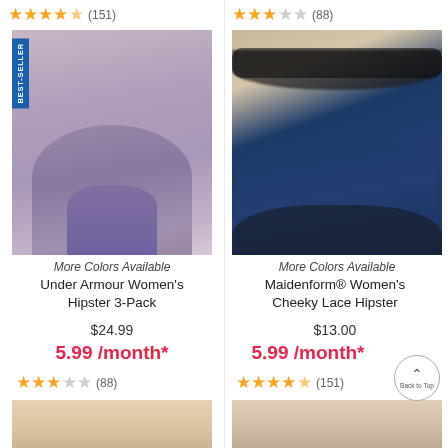[Figure (screenshot): Product listing page showing two columns of women's underwear products with ratings, images, product names, prices, and monthly prices.]
★★★★☆ (151)
★★★☆☆ (88)
BEST-SELLER
More Colors Available
Under Armour Women's Hipster 3-Pack
$24.99
5.99 /month*
★★★☆☆ (88)
More Colors Available
Maidenform® Women's Cheeky Lace Hipster
$13.00
5.99 /month*
★★★★☆ (151)
Back to Top